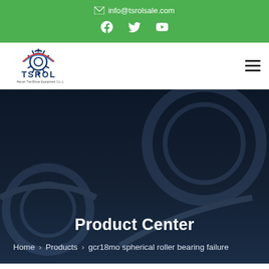✉ info@tsrolsale.com
[Figure (logo): TSROL logo with gear icon and company name]
Product Center
Home > Products > gcr18mo spherical roller bearing failure